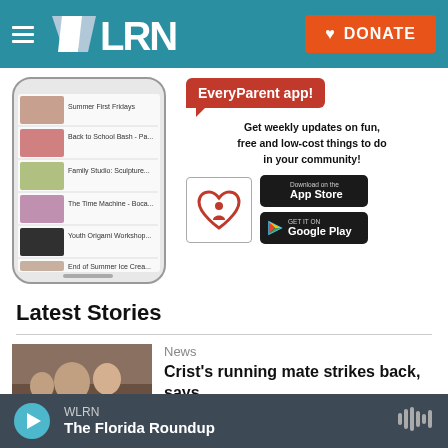[Figure (screenshot): WLRN public radio website header with logo and orange DONATE button on teal background]
[Figure (screenshot): EveryParent app advertisement showing phone mockup with app listings, red speech bubble saying EveryParent app!, tagline about weekly updates, EveryParent logo, and App Store / Google Play download buttons]
Latest Stories
[Figure (photo): Photo of a man and woman, appears to be political figures, used for news story]
News
Crist's running mate strikes back, says
[Figure (screenshot): Audio player bar at bottom showing WLRN station and The Florida Roundup program with play button and audio waveform icon]